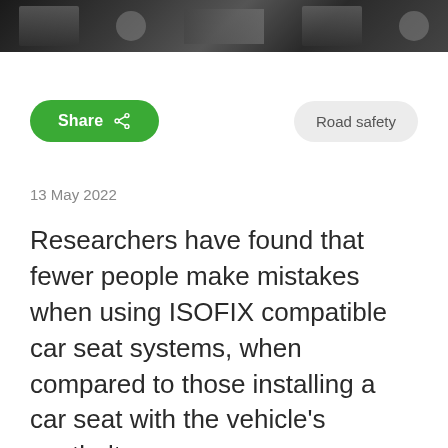[Figure (photo): Grayscale photo banner showing road/vehicle safety related imagery]
Share
Road safety
13 May 2022
Researchers have found that fewer people make mistakes when using ISOFIX compatible car seat systems, when compared to those installing a car seat with the vehicle's seatbelt.